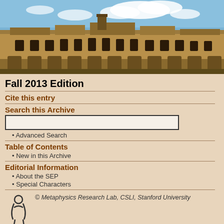[Figure (photo): Photograph of a historic stone university building (quadrangle) with blue sky and clouds]
Fall 2013 Edition
Cite this entry
Search this Archive
Advanced Search
Table of Contents
New in this Archive
Editorial Information
About the SEP
Special Characters
[Figure (logo): Metaphysics Research Lab logo — stylized figure]
© Metaphysics Research Lab, CSLI, Stanford University
qualitative change requires much the same apparatus: when a statue is painted, there is some continuing subject, the statue, and a new feature acquired, its new color. Here too there is complexity, and complexity which is readily articulated in terms of form and matter, but now of form which is evidently inessential to the continued existence of the entity whose form it is. The statue continues to exist, but receives a form which is accidental to it; it might lose that form without going out of existence. By contrast, should the statue lose its essential form, as would happen for example if the bronze which constitutes it were